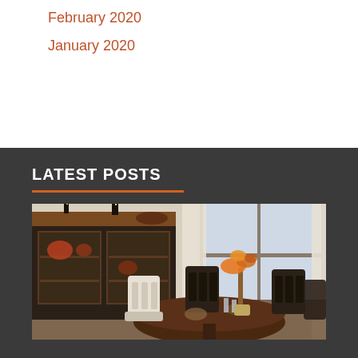February 2020
January 2020
LATEST POSTS
[Figure (photo): Dining room scene with dark wood round table, black cross-back chairs, a china cabinet with dishes in the background, orange floral arrangement, and a large window with white curtains in the background.]